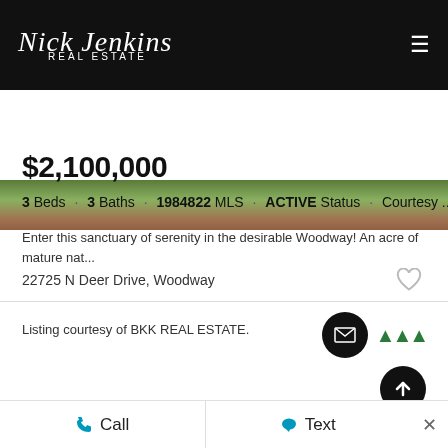[Figure (logo): Nick Jenkins Real Estate logo in white script font on black background, with hamburger menu icon]
[Figure (photo): Partial outdoor photo showing green foliage and plants at top of listing]
$2,100,000
3 Beds · 3 Baths · 1984822 MLS · ACTIVE Status · Courtesy ...
Enter this sanctuary of serenity in the desirable Woodway! An acre of mature nat...
22725 N Deer Drive, Woodway
Listing courtesy of BKK REAL ESTATE.
Call   Text